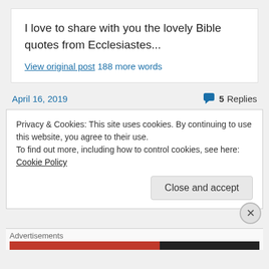I love to share with you the lovely Bible quotes from Ecclesiastes...
View original post 188 more words
April 16, 2019
5 Replies
Privacy & Cookies: This site uses cookies. By continuing to use this website, you agree to their use.
To find out more, including how to control cookies, see here: Cookie Policy
Close and accept
Advertisements